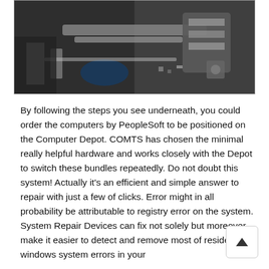[Figure (photo): A dark photograph showing mechanical parts or machinery on a surface, appears to be tools or hardware components in a workshop setting.]
By following the steps you see underneath, you could order the computers by PeopleSoft to be positioned on the Computer Depot. COMTS has chosen the minimal really helpful hardware and works closely with the Depot to switch these bundles repeatedly. Do not doubt this system! Actually it's an efficient and simple answer to repair with just a few of clicks. Error might in all probability be attributable to registry error on the system. System Repair Devices can fix not solely but moreover make it easier to detect and remove most of residence windows system errors in your